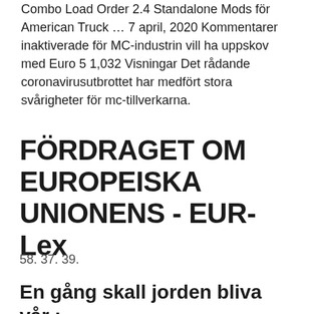Combo Load Order 2.4 Standalone Mods for American Truck … 7 april, 2020 Kommentarer inaktiverade för MC-industrin vill ha uppskov med Euro 5 1,032 Visningar Det rådande coronavirusutbrottet har medfört stora svårigheter för mc-tillverkarna.
FÖRDRAGET OM EUROPEISKA UNIONENS - EUR-Lex
58. 37. 39.
En gång skall jorden bliva vår :